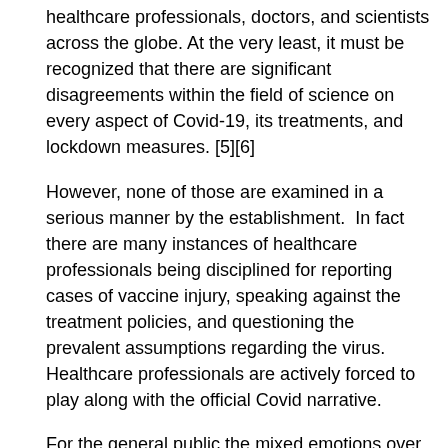healthcare professionals, doctors, and scientists across the globe. At the very least, it must be recognized that there are significant disagreements within the field of science on every aspect of Covid-19, its treatments, and lockdown measures. [5][6]
However, none of those are examined in a serious manner by the establishment.  In fact there are many instances of healthcare professionals being disciplined for reporting cases of vaccine injury, speaking against the treatment policies, and questioning the prevalent assumptions regarding the virus.  Healthcare professionals are actively forced to play along with the official Covid narrative.
For the general public the mixed emotions over the contradictions have turned to frustration, and the frustration has turned anger as if we are stuck in a pressure cooker made with official narratives and structural impediments of lockdowns and forced vaccine injection.  The heat and pressure have broken down the social fabric as our daily routines are dictated by “new normal.”
So many things have happened since last year.  But somehow things don’t seem to fit in right places in our heads.
We mark our sense of time and space with traditional events, daily routines and our common knowledge.  When we lose those, we are left